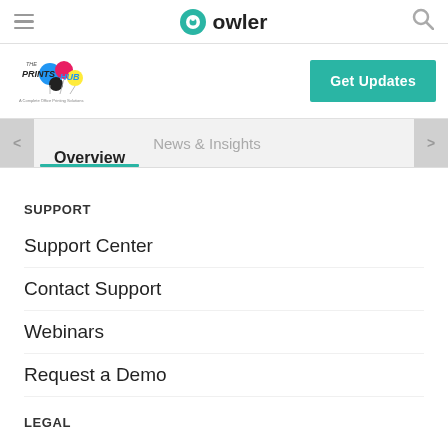owler
[Figure (logo): The Prints Hub logo — colorful ink/balloon graphic with text 'A Complete Office Printing Solutions']
Get Updates
Overview | News & Insights
SUPPORT
Support Center
Contact Support
Webinars
Request a Demo
LEGAL